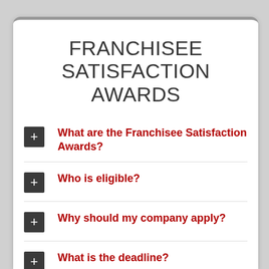FRANCHISEE SATISFACTION AWARDS
What are the Franchisee Satisfaction Awards?
Who is eligible?
Why should my company apply?
What is the deadline?
How are the winners selected?